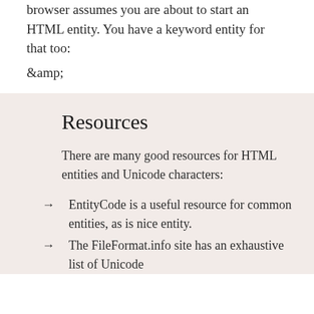browser assumes you are about to start an HTML entity. You have a keyword entity for that too:
&amp;
Resources
There are many good resources for HTML entities and Unicode characters:
EntityCode is a useful resource for common entities, as is nice entity.
The FileFormat.info site has an exhaustive list of Unicode